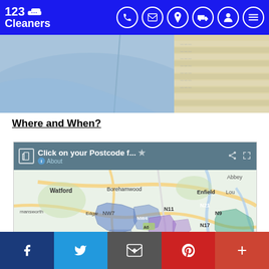123 Cleaners — navigation bar with phone, email, location, delivery, account, menu icons
[Figure (photo): Hero image showing a blue dress shirt on the left and a stack of folded fabrics/linens on the right]
Where and When?
[Figure (map): Google Map embed titled 'Click on your Postcode f...' showing north London areas including Watford, Borehamwood, Enfield, N21, N9, N11, N17, NW7, NW4, Edgware, Harrow, with highlighted postcode zones in blue and purple]
Social media footer bar: Facebook, Twitter, Email, Pinterest, More